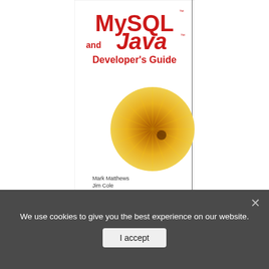[Figure (illustration): Book cover of 'MySQL and Java Developer's Guide' showing large red MySQL and Java text, 'Developer's Guide' subtitle, a golden/yellow circular abstract image, authors Mark Matthews, Jim Cole, Joseph D. Gradecki, and a red bar at the bottom.]
MySQL and Java Developer's Guide
[Figure (screenshot): Partial view of a second book cover with dark background, showing 'Copyrighted Material', author names ALI AKBAR, ZICO P. PUTRA in the center on a white label area.]
We use cookies to give you the best experience on our website.